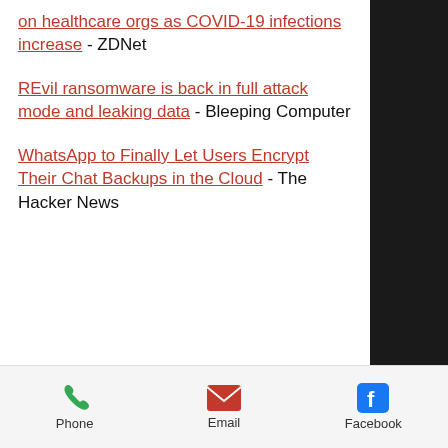on healthcare orgs as COVID-19 infections increase - ZDNet
REvil ransomware is back in full attack mode and leaking data - Bleeping Computer
WhatsApp to Finally Let Users Encrypt Their Chat Backups in the Cloud - The Hacker News
[Figure (photo): A vintage/retro gold-colored desktop computer (resembling an old Apple Macintosh) on a dark surface, partially visible]
Phone  Email  Facebook